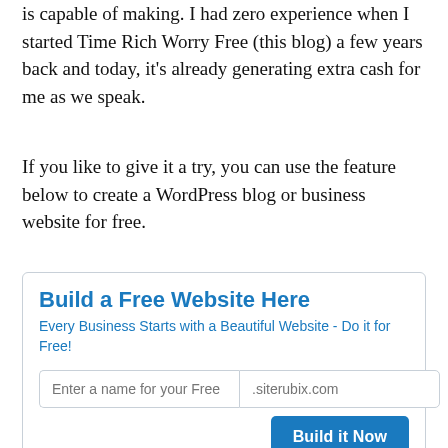is capable of making. I had zero experience when I started Time Rich Worry Free (this blog) a few years back and today, it's already generating extra cash for me as we speak.
If you like to give it a try, you can use the feature below to create a WordPress blog or business website for free.
[Figure (other): A widget box with title 'Build a Free Website Here', subtitle 'Every Business Starts with a Beautiful Website - Do it for Free!', two input fields ('Enter a name for your Free' and '.siterubix.com'), and a 'Build it Now' button.]